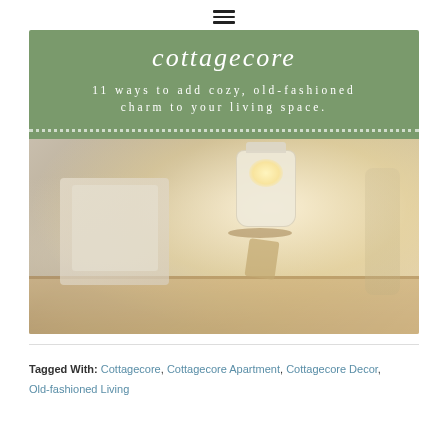≡
[Figure (illustration): Blog post featured image with green banner at top reading '11 ways to add cozy, old-fashioned charm to your living space.' with a dotted white border, below which is a photograph of a candle in a glass jar with twine, dried flowers, and folded textiles on a wooden tray against a light fluffy background.]
Tagged With: Cottagecore, Cottagecore Apartment, Cottagecore Decor, Old-fashioned Living